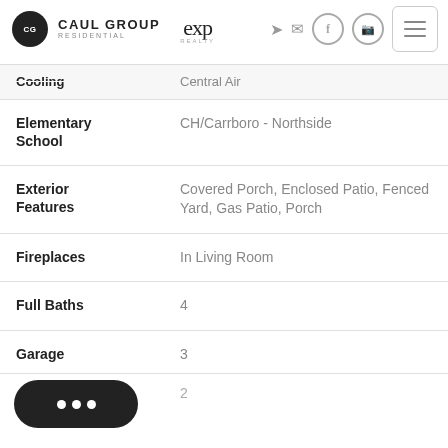Caul Group Residential | eXp Realty
| Field | Value |
| --- | --- |
| Cooling | Central Air |
| Elementary School | CH/Carrboro - Northside |
| Exterior Features | Covered Porch, Enclosed Patio, Fenced Yard, Gas Patio, Porch |
| Fireplaces | In Living Room |
| Full Baths | 4 |
| Garage | 3 |
| [partial] | 2 |